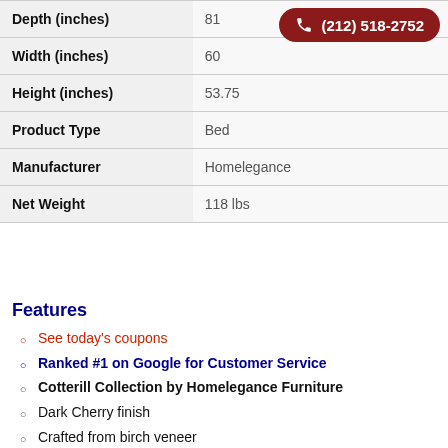| Attribute | Value |
| --- | --- |
| Depth (inches) | 81 |
| Width (inches) | 60 |
| Height (inches) | 53.75 |
| Product Type | Bed |
| Manufacturer | Homelegance |
| Net Weight | 118 lbs |
Features
See today's coupons
Ranked #1 on Google for Customer Service
Cotterill Collection by Homelegance Furniture
Dark Cherry finish
Crafted from birch veneer
Upholstered in black bi-cast vinyl
X-stitching and button tufting